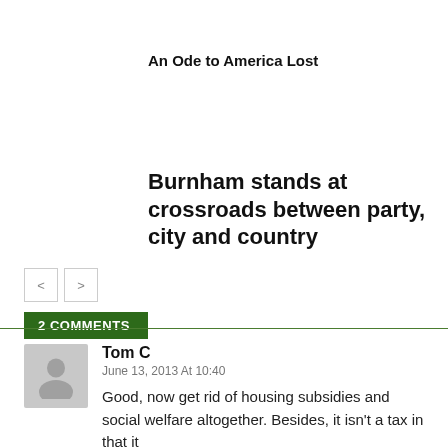An Ode to America Lost
Burnham stands at crossroads between party, city and country
[Figure (other): Navigation arrows: left and right chevron buttons]
2 COMMENTS
Tom C
June 13, 2013 At 10:40
Good, now get rid of housing subsidies and social welfare altogether. Besides, it isn't a tax in that it